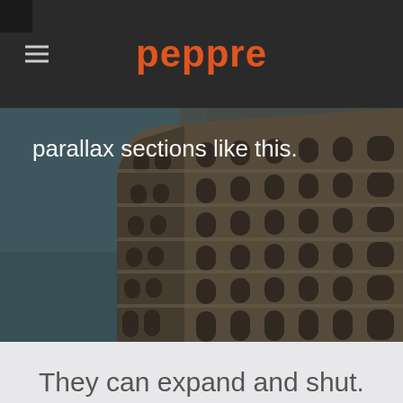peppre
parallax sections like this.
[Figure (photo): Upward-angle photograph of a tall ornate historic brick building (Flatiron-style) against a muted teal-grey sky, with multiple rows of arched windows and decorative architectural details.]
They can expand and shut.